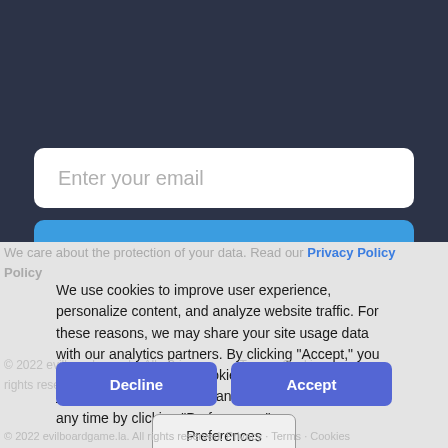Enter your email
Notify me
We care about the protection of your data. Read our Privacy Policy
We use cookies to improve user experience, personalize content, and analyze website traffic. For these reasons, we may share your site usage data with our analytics partners. By clicking “Accept,” you agree to our website’s cookie use as described in our Cookie Policy. You can change your cookie settings at any time by clicking “Preferences.”
Decline
Accept
Preferences
© 2022 evilboardgame.la. All rights reserved. Privacy · Terms · Cookies